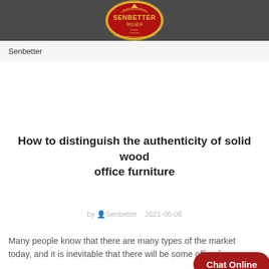Senbetter
How to distinguish the authenticity of solid wood office furniture
by Senbetter   2021-06-06
Many people know that there are many types of the market today, and it is inevitable that there will be some office fu...